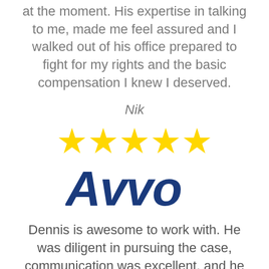at the moment. His expertise in talking to me, made me feel assured and I walked out of his office prepared to fight for my rights and the basic compensation I knew I deserved.
Nik
[Figure (other): Five yellow star rating icons]
[Figure (logo): Avvo logo in dark blue italic bold text]
Dennis is awesome to work with. He was diligent in pursuing the case, communication was excellent, and he obtained a very favorable...